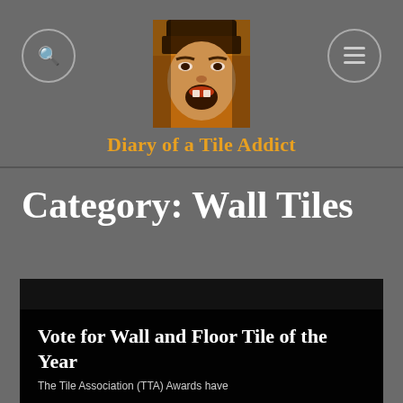[Figure (photo): Screaming face pixelated/painted portrait used as site logo]
Diary of a Tile Addict
Category: Wall Tiles
[Figure (photo): Black background article card image]
Vote for Wall and Floor Tile of the Year
The Tile Association (TTA) Awards have